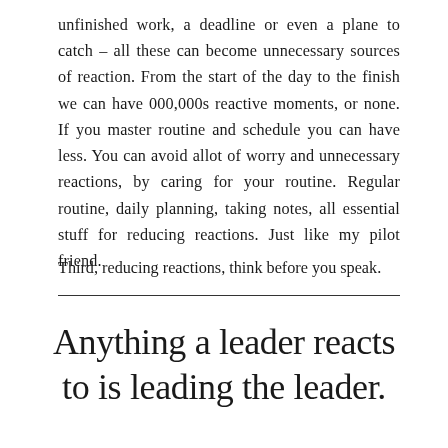unfinished work, a deadline or even a plane to catch – all these can become unnecessary sources of reaction. From the start of the day to the finish we can have 000,000s reactive moments, or none. If you master routine and schedule you can have less. You can avoid allot of worry and unnecessary reactions, by caring for your routine. Regular routine, daily planning, taking notes, all essential stuff for reducing reactions. Just like my pilot friend.
Third, reducing reactions, think before you speak.
Anything a leader reacts to is leading the leader.